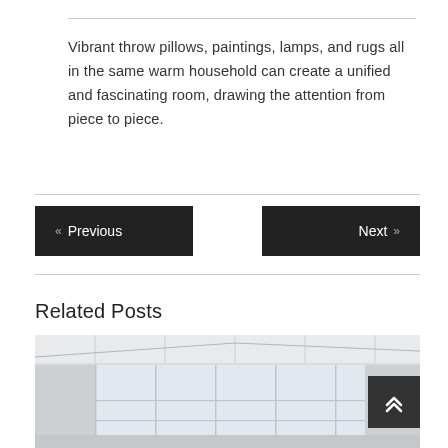Vibrant throw pillows, paintings, lamps, and rugs all in the same warm household can create a unified and fascinating room, drawing the attention from piece to piece.
« Previous
Next »
Related Posts
[Figure (photo): Interior room photo showing a bright space with white ceiling panels and large windows]